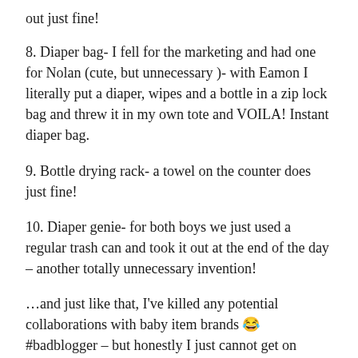out just fine!
8. Diaper bag- I fell for the marketing and had one for Nolan (cute, but unnecessary )- with Eamon I literally put a diaper, wipes and a bottle in a zip lock bag and threw it in my own tote and VOILA! Instant diaper bag.
9. Bottle drying rack- a towel on the counter does just fine!
10. Diaper genie- for both boys we just used a regular trash can and took it out at the end of the day – another totally unnecessary invention!
…and just like that, I've killed any potential collaborations with baby item brands 😂 #badblogger – but honestly I just cannot get on board with buying things just for the sake of buying things – hope this list is helpful to you guys- feel